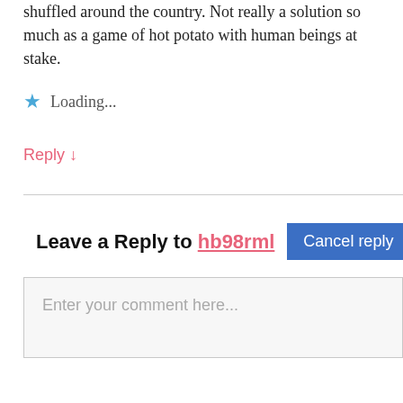shuffled around the country. Not really a solution so much as a game of hot potato with human beings at stake.
★ Loading...
Reply ↓
Leave a Reply to hb98rml   Cancel reply
Enter your comment here...